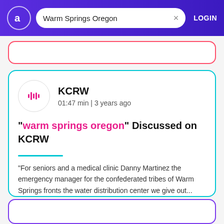Warm Springs Oregon  LOGIN
"warm springs oregon" Discussed on KCRW
KCRW
01:47 min | 3 years ago
"For seniors and a medical clinic Danny Martinez the emergency manager for the confederated tribes of Warm Springs fronts the water distribution center we give out...
Danny Martinez
Warm Springs